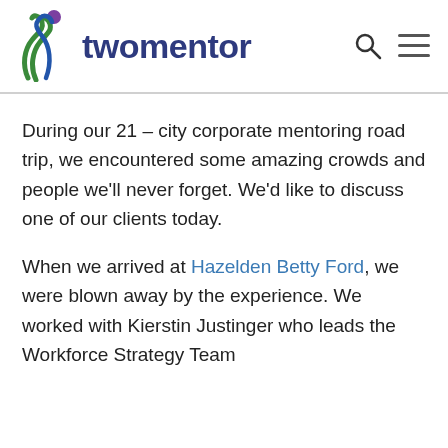[Figure (logo): Twomentor logo with stylized green swirl figure and purple circle, alongside the word 'twomentor' in dark blue/navy bold text, with a search icon and hamburger menu icon to the right.]
During our 21 – city corporate mentoring road trip, we encountered some amazing crowds and people we'll never forget. We'd like to discuss one of our clients today.
When we arrived at Hazelden Betty Ford, we were blown away by the experience. We worked with Kierstin Justinger who leads the Workforce Strategy Team